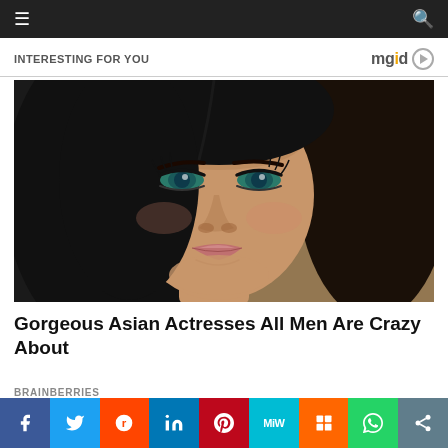≡  🔍
INTERESTING FOR YOU
[Figure (photo): Close-up portrait photo of a young woman with long dark hair, blue-green eyes, and light-pink lip color, looking at camera with a slight smile. Background is dark on left and warm beige on right.]
Gorgeous Asian Actresses All Men Are Crazy About
BRAINBERRIES
Facebook Twitter Reddit LinkedIn Pinterest MeWe Mix WhatsApp Share